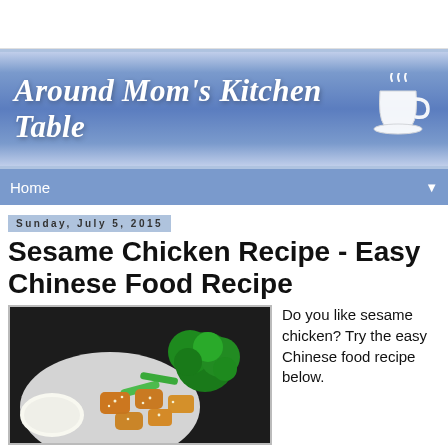[Figure (logo): Around Mom's Kitchen Table blog banner with cursive white text and a steaming coffee cup illustration on a blue gradient background]
Home
Sunday, July 5, 2015
Sesame Chicken Recipe - Easy Chinese Food Recipe
[Figure (photo): Photo of sesame chicken dish with broccoli, green vegetables, and white rice on a plate]
Do you like sesame chicken? Try the easy Chinese food recipe below.